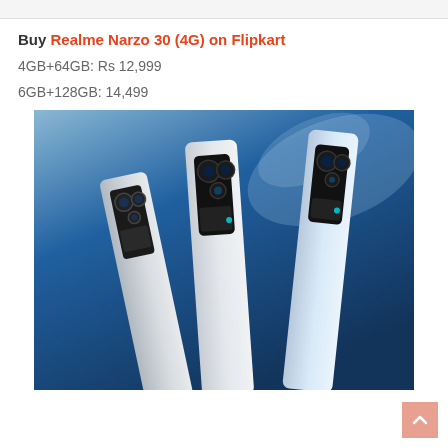Buy Realme Narzo 30 (4G) on Flipkart
4GB+64GB: Rs 12,999
6GB+128GB: 14,499
[Figure (photo): Three Realme Narzo 30 (4G) smartphones displayed diagonally showing their rear camera modules against a blue gradient background]